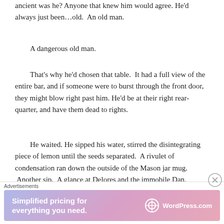ancient was he? Anyone that knew him would agree. He'd always just been…old. An old man.
A dangerous old man.
That's why he'd chosen that table. It had a full view of the entire bar, and if someone were to burst through the front door, they might blow right past him. He'd be at their right rear-quarter, and have them dead to rights.
He waited. He sipped his water, stirred the disintegrating piece of lemon until the seeds separated. A rivulet of condensation ran down the outside of the Mason jar mug. Another sip. A glance at Delores and the immobile Dan. Another sip. Any second now.
[Figure (infographic): WordPress.com advertisement banner with text 'Simplified pricing for everything you need.' on a purple-pink gradient background with WordPress logo.]